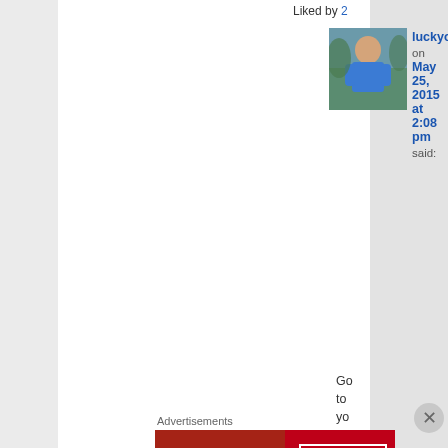Liked by 2
[Figure (photo): Avatar photo of user luckyotter in blue shirt outdoors]
luckyotter on May 25, 2015 at 2:08 pm said:
Go to your dash bo...
[Figure (other): Macy's advertisement: KISS BORING LIPS GOODBYE with SHOP NOW button]
Advertisements